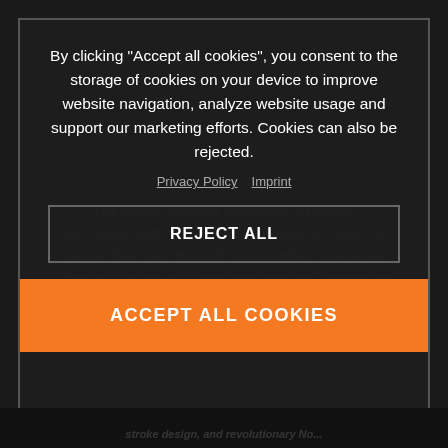The 250cc 2-stroke has plenty of power and torque but remains light enough for riders to muscle their way through the toughest obstacles. Thanks to state-of-the-art engineering, innovative 2-stroke design, and revolutionary TPI fuel
By clicking “Accept all cookies”, you consent to the storage of cookies on your device to improve website navigation, analyze website usage and support our marketing efforts. Cookies can also be rejected.
Privacy Policy  Imprint
REJECT ALL
ACCEPT ALL COOKIES